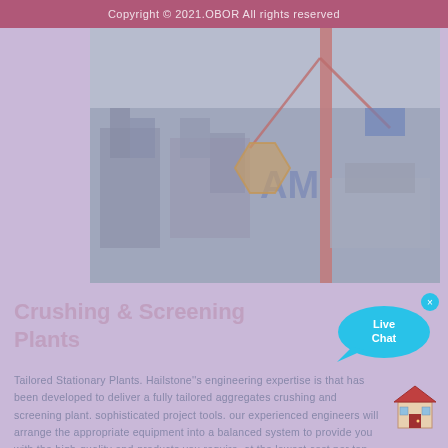Copyright © 2021.OBOR All rights reserved
[Figure (photo): Industrial construction site showing crushing and screening plant equipment being assembled with cranes, partially overlaid with a semi-transparent AM logo watermark]
Crushing & Screening Plants
Tailored Stationary Plants. Hailstone''s engineering expertise is that has been developed to deliver a fully tailored aggregates crushing and screening plant. sophisticated project tools. our experienced engineers will arrange the appropriate equipment into a balanced system to provide you with the high-quality end-products you require. at the lowest cost per ton.